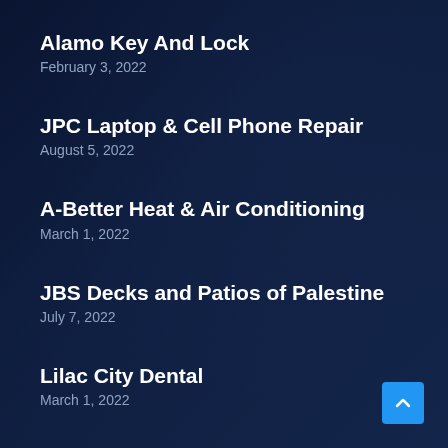Alamo Key And Lock
February 3, 2022
JPC Laptop & Cell Phone Repair
August 5, 2022
A-Better Heat & Air Conditioning
March 1, 2022
JBS Decks and Patios of Palestine
July 7, 2022
Lilac City Dental
March 1, 2022